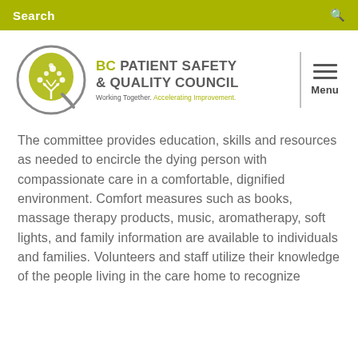Search
[Figure (logo): BC Patient Safety & Quality Council logo — circular emblem with tree motif in olive/grey, accompanied by text 'BC PATIENT SAFETY & QUALITY COUNCIL. Working Together. Accelerating Improvement.']
The committee provides education, skills and resources as needed to encircle the dying person with compassionate care in a comfortable, dignified environment. Comfort measures such as books, massage therapy products, music, aromatherapy, soft lights, and family information are available to individuals and families. Volunteers and staff utilize their knowledge of the people living in the care home to recognize